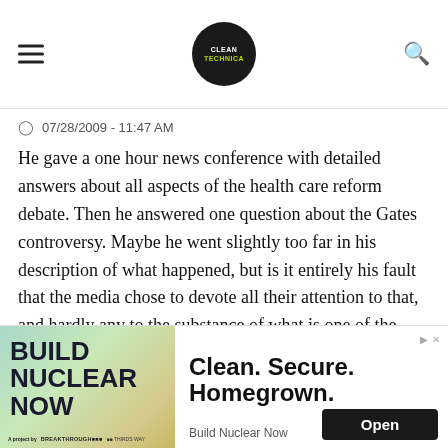Clean Technica (logo)
07/28/2009 - 11:47 AM
He gave a one hour news conference with detailed answers about all aspects of the health care reform debate. Then he answered one question about the Gates controversy. Maybe he went slightly too far in his description of what happened, but is it entirely his fault that the media chose to devote all their attention to that, and hardly any to the substance of what is one of the most important issues facing this country today?
[Figure (infographic): Advertisement banner: Build Nuclear Now — Clean. Secure. Homegrown. with Open button]